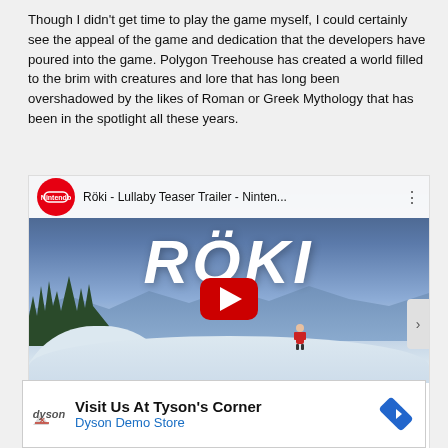Though I didn't get time to play the game myself, I could certainly see the appeal of the game and dedication that the developers have poured into the game. Polygon Treehouse has created a world filled to the brim with creatures and lore that has long been overshadowed by the likes of Roman or Greek Mythology that has been in the spotlight all these years.
[Figure (screenshot): Embedded YouTube video thumbnail for 'Röki - Lullaby Teaser Trailer - Ninten...' featuring the Nintendo channel logo, showing a stylized winter landscape with the RÖKI logo and a YouTube play button overlay.]
Privacy & Cookies: This site uses cookies. By continuing to use this website, you agree to their use.
To find out more, including how to control cookies, see here: Cookie Policy
[Figure (advertisement): Ad banner: 'Visit Us At Tyson's Corner - Dyson Demo Store' with Dyson logo and navigation arrow icon.]